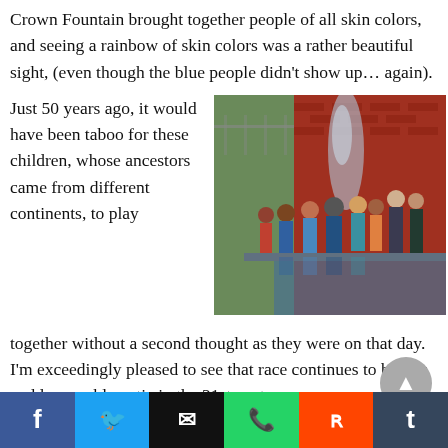Crown Fountain brought together people of all skin colors, and seeing a rainbow of skin colors was a rather beautiful sight, (even though the blue people didn't show up… again).
Just 50 years ago, it would have been taboo for these children, whose ancestors came from different continents, to play together without a second thought as they were on that day. I'm exceedingly pleased to see that race continues to be less and less problematic in the 21st century.
[Figure (photo): Children of diverse backgrounds playing together at Crown Fountain, with water spraying over them, in front of a red brick wall.]
Social sharing buttons: Facebook, Twitter, Email, WhatsApp, Reddit, Tumblr